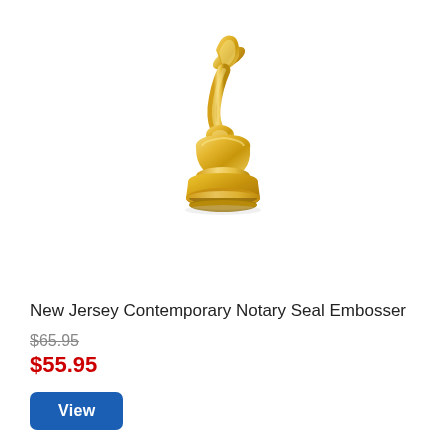[Figure (photo): Gold/brass colored contemporary notary seal embosser with a tall curved handle and rounded base, photographed on white background]
New Jersey Contemporary Notary Seal Embosser
$65.95
$55.95
View